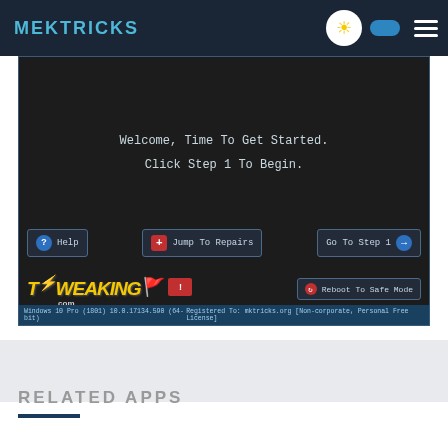MEKTRICKS
[Figure (screenshot): Tweaking.com Windows Repair tool welcome screen showing 'Welcome, Time To Get Started. Click Step 1 To Begin.' with Help, Jump To Repairs, and Go To Step 1 buttons. Bottom shows Tweaking.com logo and Reboot To Safe Mode button. Status bar shows Windows 10 Pro (1801) 10.0.17134.590 (64-bit) and Registered To: mktricks.org [Non-corporate, Personal Free License]]
RELATED APPS